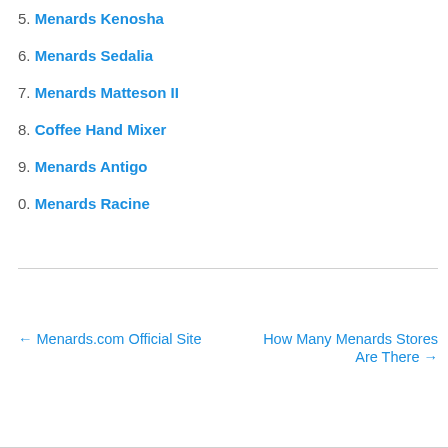5. Menards Kenosha
6. Menards Sedalia
7. Menards Matteson II
8. Coffee Hand Mixer
9. Menards Antigo
0. Menards Racine
← Menards.com Official Site    How Many Menards Stores Are There →